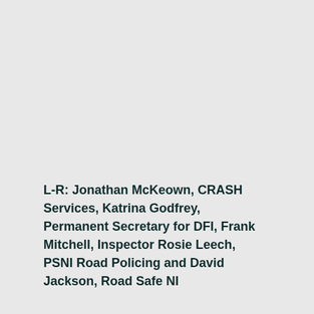L-R: Jonathan McKeown, CRASH Services, Katrina Godfrey, Permanent Secretary for DFI, Frank Mitchell, Inspector Rosie Leech, PSNI Road Policing and David Jackson, Road Safe NI